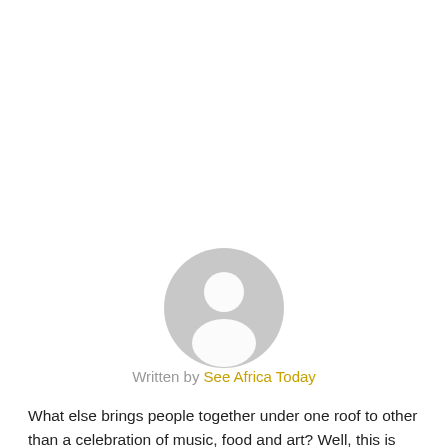[Figure (illustration): Generic grey user avatar placeholder circle with a person silhouette icon in white]
Written by See Africa Today
What else brings people together under one roof to other than a celebration of music, food and art? Well, this is what Kenya's Koroga Festival is all about; music, food and fashion...